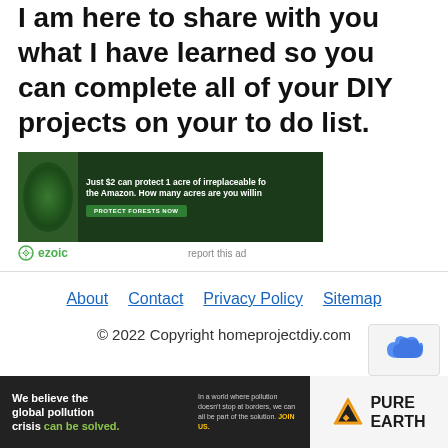I am here to share with you what I have learned so you can complete all of your DIY projects on your to do list.
[Figure (screenshot): Advertisement banner: dark green background with Amazon rainforest imagery and sloth. Text reads 'Just $2 can protect 1 acre of irreplaceable fo the Amazon. How many acres are you willing' with a green 'PROTECT FORESTS NOW' button. Ezoic logo below with 'report this ad' link.]
About   Contact   Privacy Policy   Sitemap
© 2022 Copyright homeprojectdiy.com
[Figure (screenshot): Advertisement banner: black background left side reads 'We believe the global pollution crisis can be solved.' with green text. Right side says 'In a world where pollution doesn't stop at borders, we can all be part of the solution. JOIN US.' Pure Earth logo on right.]